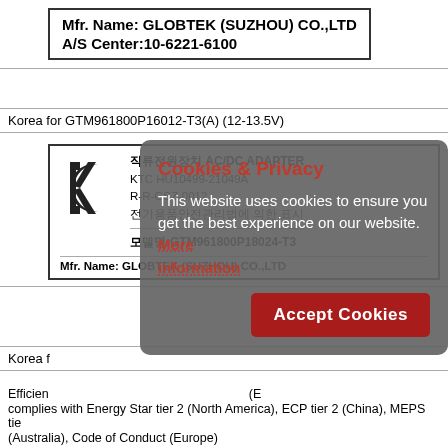[Figure (other): Manufacturer label box showing: Mfr. Name: GLOBTEK (SUZHOU) CO.,LTD and A/S Center:10-6221-6100]
Korea for GTM961800P16012-T3(A) (12-13.5V)
[Figure (other): Korean KC certification label with KC mark logo, text: 직류전원장치 AC/DC ADAPTER, KTC HU10499-21049A, R-R-GSZ-0012, 전기용품안전관리법에 의한 표시, 모델명:GTM961800P18024-T3, Mfr. Name: GLOBTEK (SUZHOU) CO.,LTD]
Korea f
Efficienc
complies with Energy Star tier 2 (North America), ECP tier 2 (China), MEPS tier
(Australia), Code of Conduct (Europe)
Cookies & Privacy
This website uses cookies to ensure you get the best experience on our website. More information
Accept Cookies